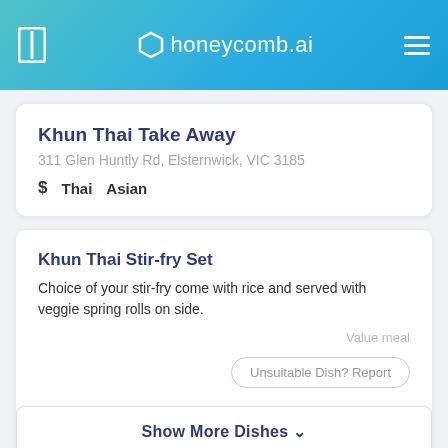honeycomb.ai
Khun Thai Take Away
311 Glen Huntly Rd, Elsternwick, VIC 3185
$ Thai Asian
Khun Thai Stir-fry Set
Choice of your stir-fry come with rice and served with veggie spring rolls on side.
Value meal
Unsuitable Dish? Report
Show More Dishes ∨